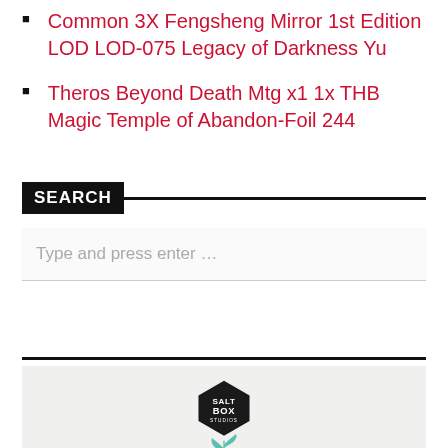Common 3X Fengsheng Mirror 1st Edition LOD LOD-075 Legacy of Darkness Yu
Theros Beyond Death Mtg x1 1x THB Magic Temple of Abandon-Foil 244
SEARCH
Type and press enter …
[Figure (logo): Salt Box Studios hexagon logo with teal plant illustration below]